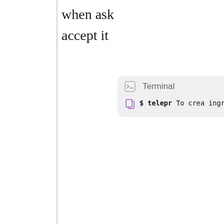when ask
accept it
[Figure (screenshot): Terminal window showing a telepresence command with interactive prompts. Header shows terminal icon and 'Terminal' label. Body shows: '$ telepr...' command, followed by output lines: 'To crea...', 'ingress...', '1/4: Wh...', 'You...', '"se...', '[n...', '2/4: W...', '[n...', '3/4: Do...', '[d...', '4/4: If...']